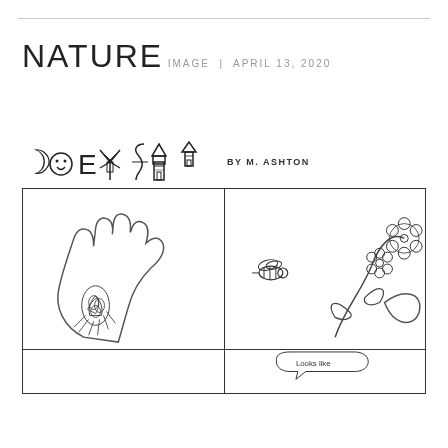NATURE
IMAGE | APRIL 13, 2020
[Figure (illustration): Coexist comic strip title with stylized letters using symbols (crescent moon, face, E, windmill, snake, lighthouse) followed by 'BY M. ASHTON'. Two comic panels: left panel shows a hand holding a pinecone with pine needles; right panel shows a bee flying toward a flowering branch with leaves. A partial third strip is visible at the bottom.]